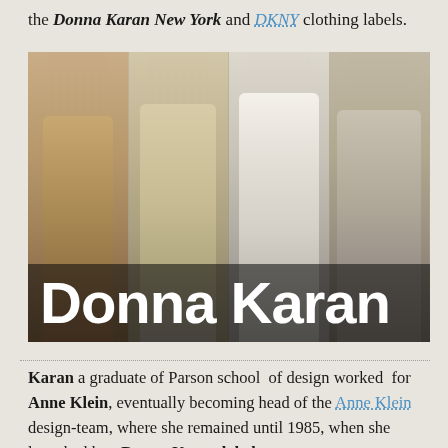the Donna Karan New York and DKNY clothing labels.
[Figure (photo): Four fashion models walking a runway wearing Donna Karan designs in neutral/beige tones, with large text 'Donna Karan' overlaid at the bottom of the image.]
Karan a graduate of Parson school of design worked for Anne Klein, eventually becoming head of the Anne Klein design-team, where she remained until 1985, when she launched her Donna Karan label.